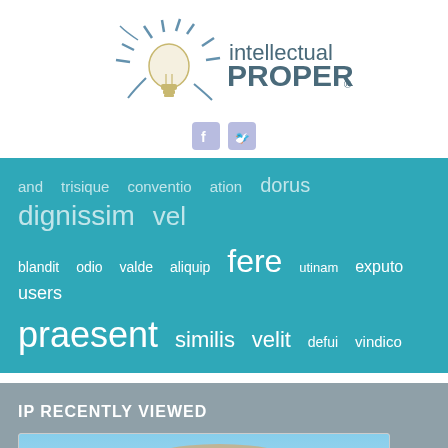[Figure (logo): Intellectual Property logo with light bulb and swirl graphic]
[Figure (illustration): Social media icons: Facebook and Twitter buttons]
and trisique conventio ation dorus dignissim vel blandit odio valde aliquip fere utinam exputo users praesent similis velit defui vindico
IP RECENTLY VIEWED
[Figure (photo): Partially visible cloud/sky photo used as thumbnail]